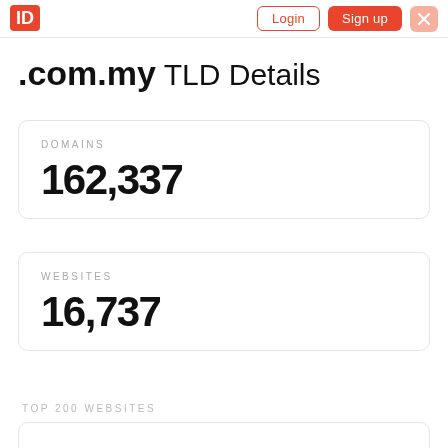Login Sign up
.com.my TLD Details
DOMAINS
162,337
WEBSITES
16,737
TOP 200 WEBSITES